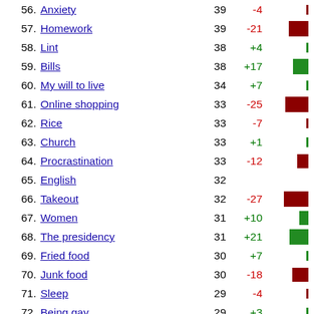56. Anxiety 39 -4
57. Homework 39 -21
58. Lint 38 +4
59. Bills 38 +17
60. My will to live 34 +7
61. Online shopping 33 -25
62. Rice 33 -7
63. Church 33 +1
64. Procrastination 33 -12
65. English 32
66. Takeout 32 -27
67. Women 31 +10
68. The presidency 31 +21
69. Fried food 30 +7
70. Junk food 30 -18
71. Sleep 29 -4
72. Being gay 29 +3
73. Pizza 27 -6
74. Sanity 27 -4
75. Complaining 27 -11
76. Cooking 26 -26